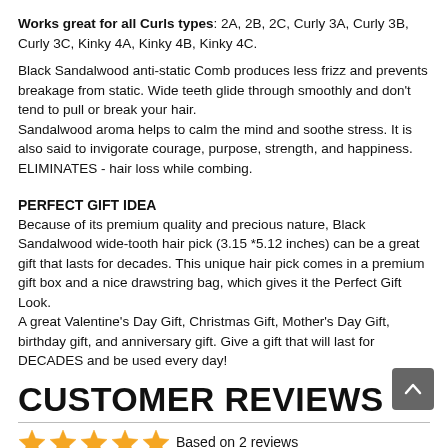Works great for all Curls types: 2A, 2B, 2C, Curly 3A, Curly 3B, Curly 3C, Kinky 4A, Kinky 4B, Kinky 4C.
Black Sandalwood anti-static Comb produces less frizz and prevents breakage from static. Wide teeth glide through smoothly and don't tend to pull or break your hair.
Sandalwood aroma helps to calm the mind and soothe stress. It is also said to invigorate courage, purpose, strength, and happiness. ELIMINATES - hair loss while combing.
PERFECT GIFT IDEA
Because of its premium quality and precious nature, Black Sandalwood wide-tooth hair pick (3.15 *5.12 inches) can be a great gift that lasts for decades. This unique hair pick comes in a premium gift box and a nice drawstring bag, which gives it the Perfect Gift Look.
A great Valentine's Day Gift, Christmas Gift, Mother's Day Gift, birthday gift, and anniversary gift. Give a gift that will last for DECADES and be used every day!
CUSTOMER REVIEWS
Based on 2 reviews